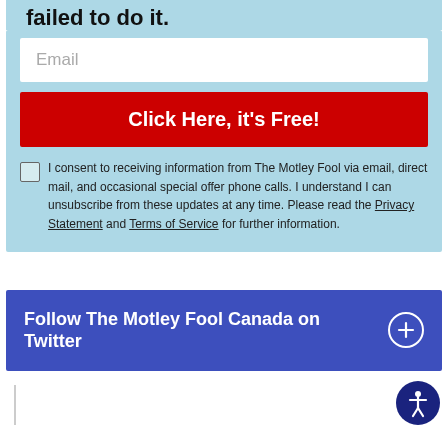failed to do it.
Email
Click Here, it's Free!
I consent to receiving information from The Motley Fool via email, direct mail, and occasional special offer phone calls. I understand I can unsubscribe from these updates at any time. Please read the Privacy Statement and Terms of Service for further information.
Follow The Motley Fool Canada on Twitter